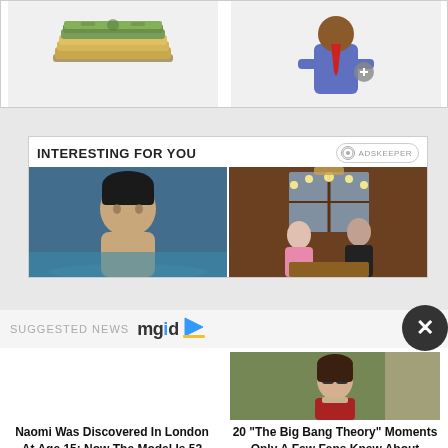[Figure (screenshot): Top banner with money stack illustration on left and businessman cartoon on right]
INTERESTING FOR YOU
[Figure (photo): Man in water, shirtless, looking at camera]
[Figure (photo): Two people at a dinner table with chandelier in background]
SUGGESTED NEWS mgid
[Figure (photo): Woman with glasses in red cardigan, appears to be from The Big Bang Theory]
Naomi Was Discovered In London At Age 15: Now The Model Is 52
20 "The Big Bang Theory" Moments Only A Few Fans Knew About